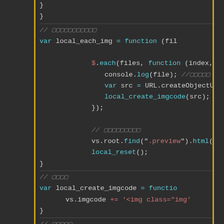[Figure (screenshot): Dark-themed code editor screenshot showing JavaScript code with syntax highlighting. Code includes variable declarations for local_each_img and local_create_imgcode functions, jQuery $.each loop, console.log, URL.createObjectURL, and HTML string concatenation. Comments shown as gray italic text with placeholder characters.]